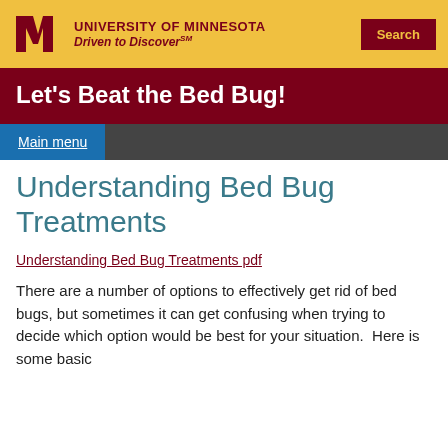University of Minnesota — Driven to Discover℠ | Search
Let's Beat the Bed Bug!
Main menu
Understanding Bed Bug Treatments
Understanding Bed Bug Treatments pdf
There are a number of options to effectively get rid of bed bugs, but sometimes it can get confusing when trying to decide which option would be best for your situation.  Here is some basic